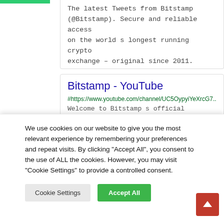The latest Tweets from Bitstamp (@Bitstamp). Secure and reliable access on the world s longest running crypto exchange – original since 2011.
Bitstamp - YouTube
#https://www.youtube.com/channel/UC5OypyiYeXrcG7...
Welcome to Bitstamp s official Youtube...
We use cookies on our website to give you the most relevant experience by remembering your preferences and repeat visits. By clicking "Accept All", you consent to the use of ALL the cookies. However, you may visit "Cookie Settings" to provide a controlled consent.